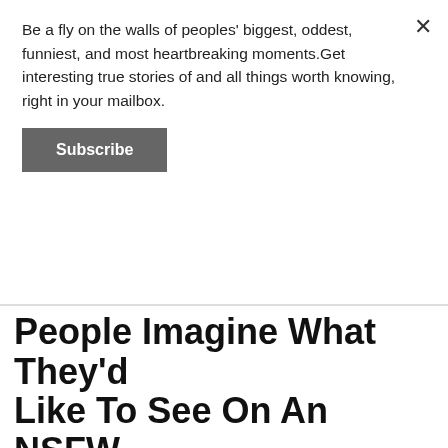Be a fly on the walls of peoples' biggest, oddest, funniest, and most heartbreaking moments.Get interesting true stories of and all things worth knowing, right in your mailbox.
Subscribe
People Imagine What They'd Like To See On An NSFW MythBusters Episode
By Thomas Dane
June 17 | 2022
[Figure (photo): Close-up photo of a person's torso with an orange-nailed hand resting on it]